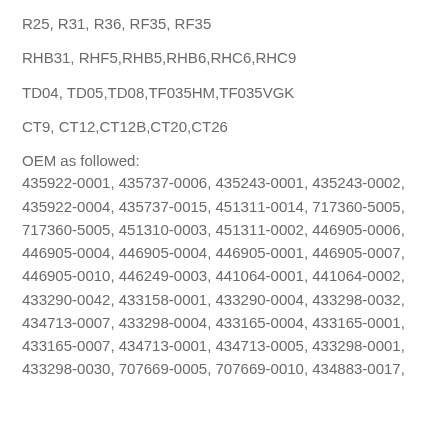R25, R31, R36, RF35, RF35
RHB31, RHF5,RHB5,RHB6,RHC6,RHC9
TD04, TD05,TD08,TF035HM,TF035VGK
CT9, CT12,CT12B,CT20,CT26
OEM as followed:
435922-0001, 435737-0006, 435243-0001, 435243-0002, 435922-0004, 435737-0015, 451311-0014, 717360-5005, 717360-5005, 451310-0003, 451311-0002, 446905-0006, 446905-0004, 446905-0004, 446905-0001, 446905-0007, 446905-0010, 446249-0003, 441064-0001, 441064-0002, 433290-0042, 433158-0001, 433290-0004, 433298-0032, 434713-0007, 433298-0004, 433165-0004, 433165-0001, 433165-0007, 434713-0001, 434713-0005, 433298-0001, 433298-0030, 707669-0005, 707669-0010, 434883-0017,